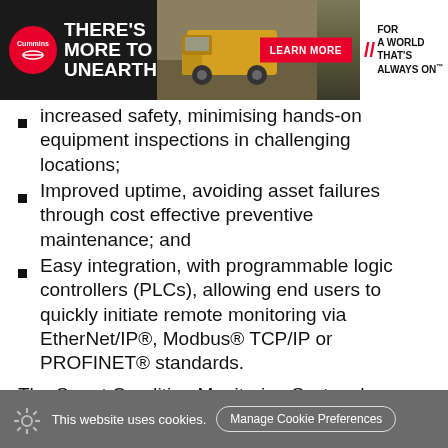[Figure (other): Cummins advertisement banner: black background with Cummins logo, text 'THERE'S MORE TO UNEARTH', image of large mining truck, red LEARN MORE button, and white panel with 'FOR A WORLD THAT'S ALWAYS ON' tagline]
Increased safety, minimising hands-on equipment inspections in challenging locations;
Improved uptime, avoiding asset failures through cost effective preventive maintenance; and
Easy integration, with programmable logic controllers (PLCs), allowing end users to quickly initiate remote monitoring via EtherNet/IP®, Modbus® TCP/IP or PROFINET® standards.
The Smart Condition Monitoring System has been engineered with proprietary algorithms to allow continuous monitoring, enabling maintenance managers to easily compare sensor data against models of healthy gear drive operating conditions, Rexnord explained. Abnormal
This website uses cookies. Manage Cookie Preferences